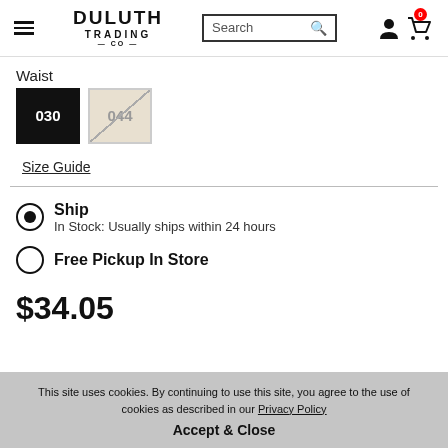[Figure (screenshot): Duluth Trading Co website header with hamburger menu, logo, search bar, user icon, and cart icon with 0 badge]
Waist
030
044
Size Guide
Ship
In Stock: Usually ships within 24 hours
Free Pickup In Store
$34.05
This site uses cookies. By continuing to use this site, you agree to the use of cookies as described in our Privacy Policy
Accept & Close